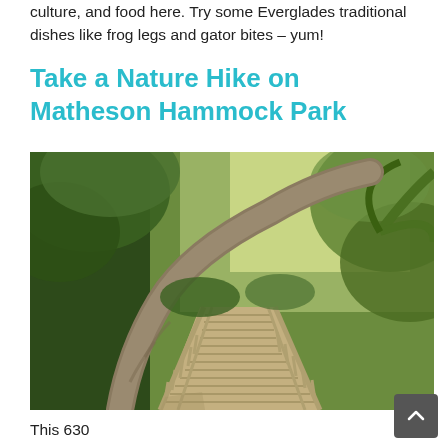culture, and food here. Try some Everglades traditional dishes like frog legs and gator bites – yum!
Take a Nature Hike on Matheson Hammock Park
[Figure (photo): A wooden boardwalk path winding through a lush tropical forest with a large tree arching across the walkway, sunlight filtering through dense green foliage at Matheson Hammock Park.]
This 630...